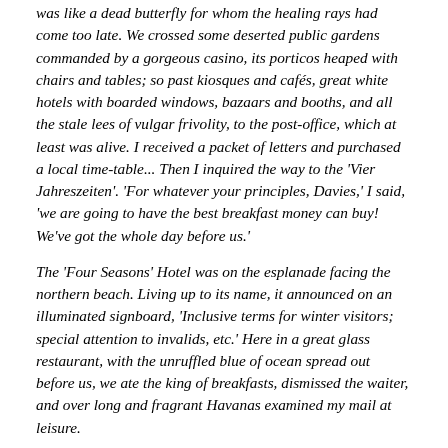was like a dead butterfly for whom the healing rays had come too late. We crossed some deserted public gardens commanded by a gorgeous casino, its porticos heaped with chairs and tables; so past kiosques and cafés, great white hotels with boarded windows, bazaars and booths, and all the stale lees of vulgar frivolity, to the post-office, which at least was alive. I received a packet of letters and purchased a local time-table... Then I inquired the way to the 'Vier Jahreszeiten'. 'For whatever your principles, Davies,' I said, 'we are going to have the best breakfast money can buy! We've got the whole day before us.'
The 'Four Seasons' Hotel was on the esplanade facing the northern beach. Living up to its name, it announced on an illuminated signboard, 'Inclusive terms for winter visitors; special attention to invalids, etc.' Here in a great glass restaurant, with the unruffled blue of ocean spread out before us, we ate the king of breakfasts, dismissed the waiter, and over long and fragrant Havanas examined my mail at leisure.
There is an hotel called The Four Seasons - Vier Jahreszeiten - in Norderney today, but I'm pretty certain it's not the one Carruthers